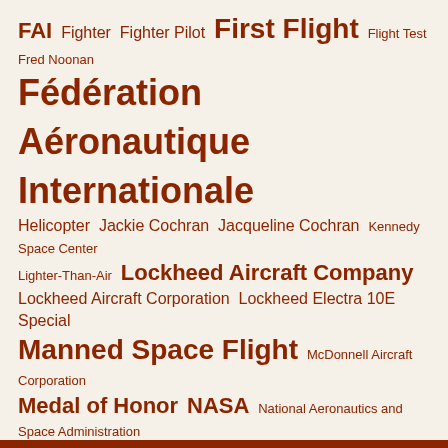[Figure (infographic): Tag cloud of aviation and aerospace related terms in varying font sizes, all in dark red/brown color on a cream background. Terms include: FAI, Fighter, Fighter Pilot, First Flight, Flight Test, Fred Noonan, Fédération Aéronautique Internationale, Helicopter, Jackie Cochran, Jacqueline Cochran, Kennedy Space Center, Lighter-Than-Air, Lockheed Aircraft Company, Lockheed Aircraft Corporation, Lockheed Electra 10E Special, Manned Space Flight, McDonnell Aircraft Corporation, Medal of Honor, NASA, National Aeronautics and Space Administration, North American Aviation Inc., NR16020, Prototype, Sikorsky Aircraft Corporation, Space Shuttle Program, Test Pilot, Transcontinental Flight, Transoceanic Flight, Vietnam War, World War II]